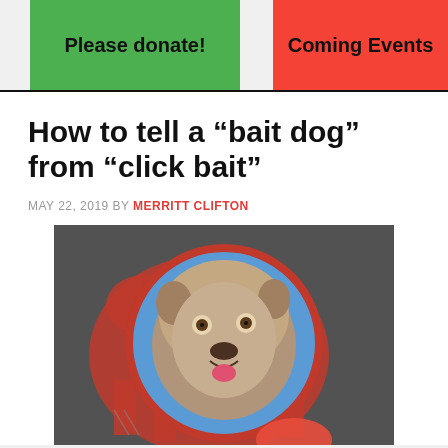Please donate! | Coming Events
How to tell a “bait dog” from “click bait”
MAY 22, 2019 BY MERRITT CLIFTON
[Figure (photo): Photo of a pit bull type dog centered in a circular frame, set against a red silhouette of a dog and a dark textured background. The dog appears friendly with its mouth open and tongue out.]